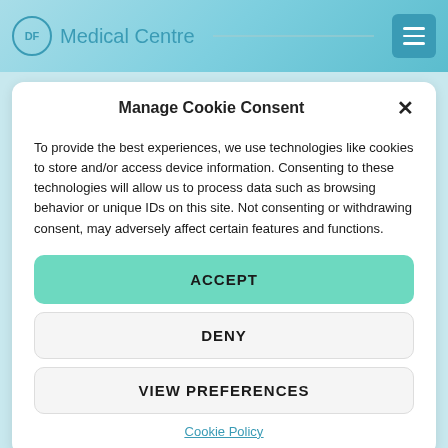DF Medical Centre
Manage Cookie Consent
To provide the best experiences, we use technologies like cookies to store and/or access device information. Consenting to these technologies will allow us to process data such as browsing behavior or unique IDs on this site. Not consenting or withdrawing consent, may adversely affect certain features and functions.
ACCEPT
DENY
VIEW PREFERENCES
Cookie Policy